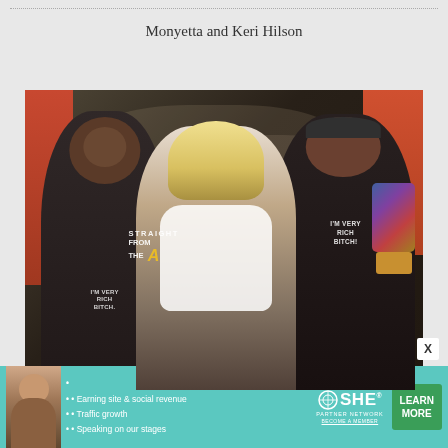Monyetta and Keri Hilson
[Figure (photo): Three people posing together indoors. Two men on either side wearing black t-shirts that read 'I'M VERY RICH BITCH!' with a 'Straight From The A' watermark overlay. A woman with long blonde hair stands in the center wearing a white top. Photo taken at what appears to be an indoor event or store.]
[Figure (infographic): Advertisement banner for SHE Partner Network with teal background. Shows bullet points: 'Earning site & social revenue', 'Traffic growth', 'Speaking on our stages'. Features SHE Partner Network logo and a green 'LEARN MORE' button. An 'X' close button appears above the ad.]